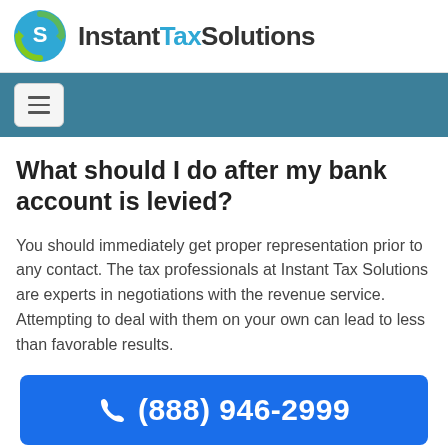[Figure (logo): Instant Tax Solutions logo with green/blue circular arrow icon and company name text]
[Figure (other): Navigation bar with hamburger menu button on teal/steel blue background]
What should I do after my bank account is levied?
You should immediately get proper representation prior to any contact. The tax professionals at Instant Tax Solutions are experts in negotiations with the revenue service. Attempting to deal with them on your own can lead to less than favorable results.
(888) 946-2999